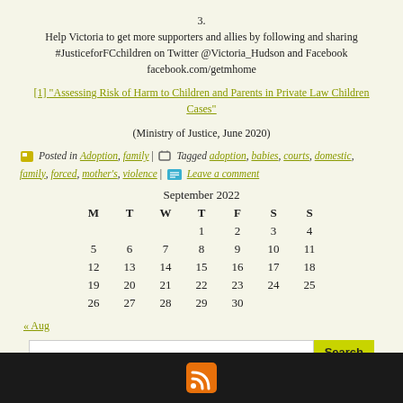3.
Help Victoria to get more supporters and allies by following and sharing #JusticeforFCchildren on Twitter @Victoria_Hudson and Facebook facebook.com/getmhome
[1] "Assessing Risk of Harm to Children and Parents in Private Law Children Cases" (Ministry of Justice, June 2020)
Posted in Adoption, family | Tagged adoption, babies, courts, domestic, family, forced, mother's, violence | Leave a comment
| M | T | W | T | F | S | S |
| --- | --- | --- | --- | --- | --- | --- |
|  |  |  | 1 | 2 | 3 | 4 |
| 5 | 6 | 7 | 8 | 9 | 10 | 11 |
| 12 | 13 | 14 | 15 | 16 | 17 | 18 |
| 19 | 20 | 21 | 22 | 23 | 24 | 25 |
| 26 | 27 | 28 | 29 | 30 |  |  |
« Aug
Search